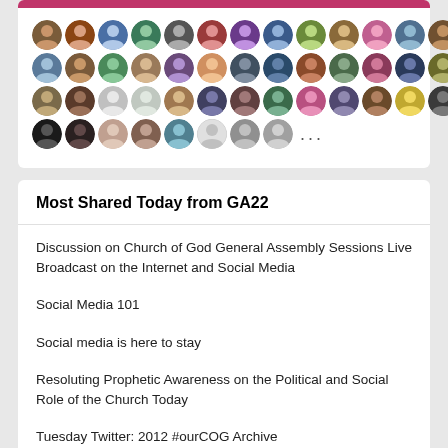[Figure (illustration): A group of circular profile photo avatars arranged in 4 rows, showing social media followers or participants, with '...' indicating more]
Most Shared Today from GA22
Discussion on Church of God General Assembly Sessions Live Broadcast on the Internet and Social Media
Social Media 101
Social media is here to stay
Resoluting Prophetic Awareness on the Political and Social Role of the Church Today
Tuesday Twitter: 2012 #ourCOG Archive